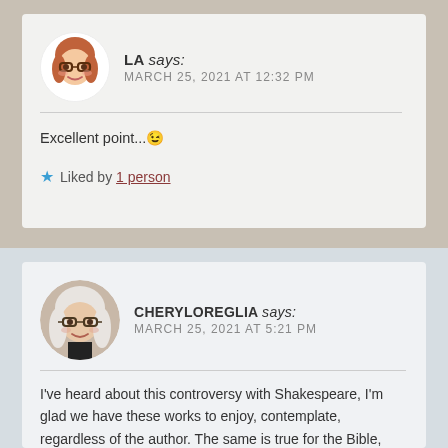LA says: MARCH 25, 2021 AT 12:32 PM
Excellent point... 😉
Liked by 1 person
CHERYLOREGLIA says: MARCH 25, 2021 AT 5:21 PM
I've heard about this controversy with Shakespeare, I'm glad we have these works to enjoy, contemplate, regardless of the author. The same is true for the Bible, most of the stories are complications of earlier works, redacted many times, by various